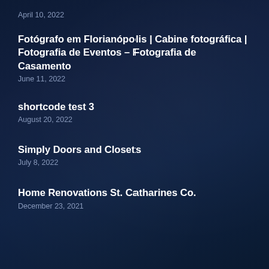April 10, 2022
Fotógrafo em Florianópolis | Cabine fotográfica | Fotografia de Eventos – Fotografia de Casamento
June 11, 2022
shortcode test 3
August 20, 2022
Simply Doors and Closets
July 8, 2022
Home Renovations St. Catharines Co.
December 23, 2021